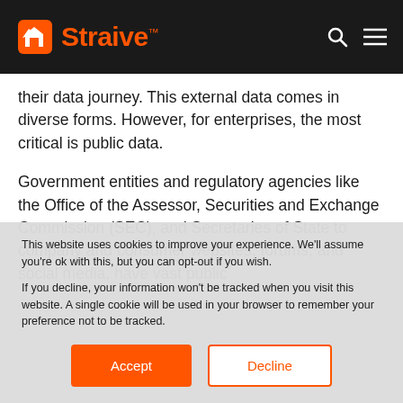Straive
their data journey. This external data comes in diverse forms. However, for enterprises, the most critical is public data.
Government entities and regulatory agencies like the Office of the Assessor, Securities and Exchange Commission (SEC), and Secretaries of State to company and consumer websites, forums, and social media, have vast public
This website uses cookies to improve your experience. We'll assume you're ok with this, but you can opt-out if you wish.
If you decline, your information won't be tracked when you visit this website. A single cookie will be used in your browser to remember your preference not to be tracked.